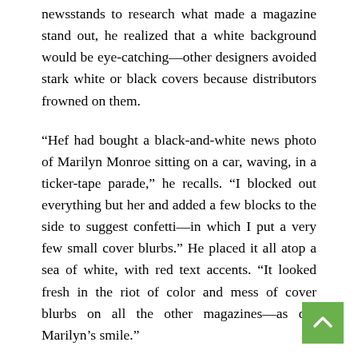newsstands to research what made a magazine stand out, he realized that a white background would be eye-catching—other designers avoided stark white or black covers because distributors frowned on them.
“Hef had bought a black-and-white news photo of Marilyn Monroe sitting on a car, waving, in a ticker-tape parade,” he recalls. “I blocked out everything but her and added a few blocks to the side to suggest confetti—in which I put a very few small cover blurbs.” He placed it all atop a sea of white, with red text accents. “It looked fresh in the riot of color and mess of cover blurbs on all the other magazines—as did Marilyn’s smile.”
Many of Paul’s early PLAYBOY covers are risk-taking and unorthodox, and sometimes strikingly minimalist. The June 1957 cover, for example, is entirely white but for two black Rabbit Head cuff links; inside, the fiction story echoes design with a nearly all-white two-page spread save for a lone